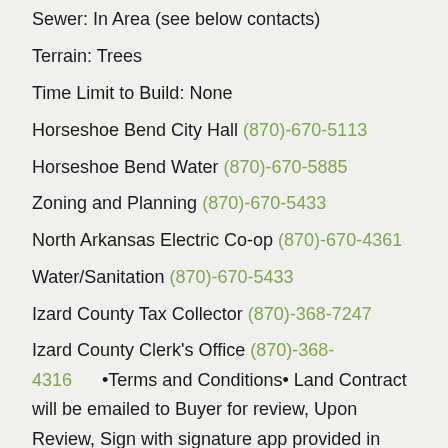Sewer: In Area (see below contacts)
Terrain: Trees
Time Limit to Build: None
Horseshoe Bend City Hall (870)-670-5113
Horseshoe Bend Water (870)-670-5885
Zoning and Planning (870)-670-5433
North Arkansas Electric Co-op (870)-670-4361
Water/Sanitation (870)-670-5433
Izard County Tax Collector (870)-368-7247
Izard County Clerk's Office (870)-368-4316   •Terms and Conditions• Land Contract will be emailed to Buyer for review, Upon Review, Sign with signature app provided in email. A payment schedule will be emailed to you of on payments.. Once land is paid off, Deed will be issued, Notarized, and sent Certified mail to buyer to record with the county. It is the Buyers responsibility to record the county and to ensure...